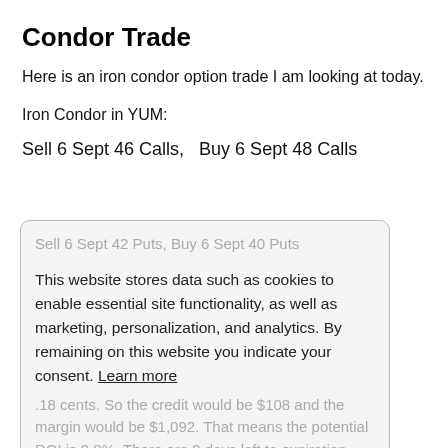Condor Trade
Here is an iron condor option trade I am looking at today.
Iron Condor in YUM:
Sell 6 Sept 46 Calls,   Buy 6 Sept 48 Calls
Sell 6 Sept 42 Puts, Buy 6 Sept 40 Puts
Thinkorswim is showing the mid price to be .18 cents. So the credit would be $108 and the margin would be $1,092. That means the potential ROI is 9.8%. There are 9 days left to expiration. With so little time left, there’s no room for adjustments so the trade would be to ride it to expiration.
This website stores data such as cookies to enable essential site functionality, as well as marketing, personalization, and analytics. By remaining on this website you indicate your consent. Learn more
Got it!